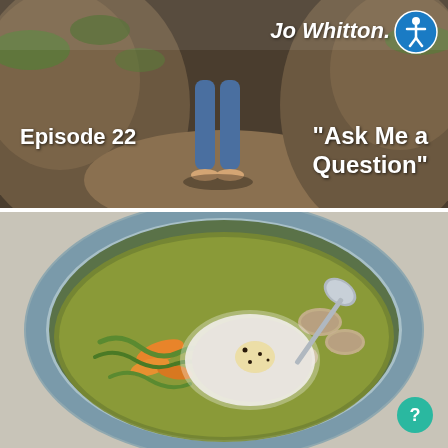[Figure (photo): Top half: outdoor nature/cave photo with person's legs visible, rocks and moss. Text overlaid: 'Jo Whitton', 'Episode 22', '"Ask Me a Question"'. Accessibility icon (circle with person) in top right corner.]
[Figure (photo): Bottom half: close-up photo of a bowl of soup with a poached egg, vegetables including spiralized zucchini, mushrooms, and broth, with a spoon. Help/info icon in bottom right corner.]